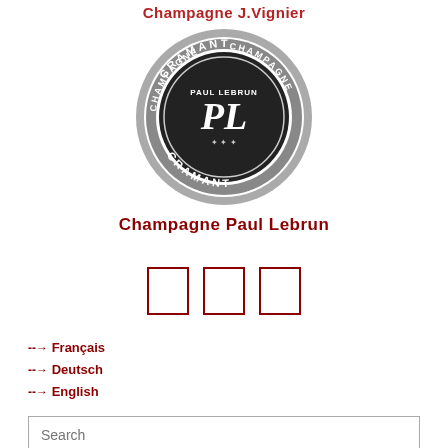Champagne J.Vignier
[Figure (logo): Circular logo of Champagne Paul Lebrun with text CRAMANT and CHAMPAGNE around the border and stylized PL monogram in center on dark background]
Champagne Paul Lebrun
[Figure (other): Three empty square icon boxes, dark red borders, representing social media icons]
→ Français
→ Deutsch
→ English
Search
OK